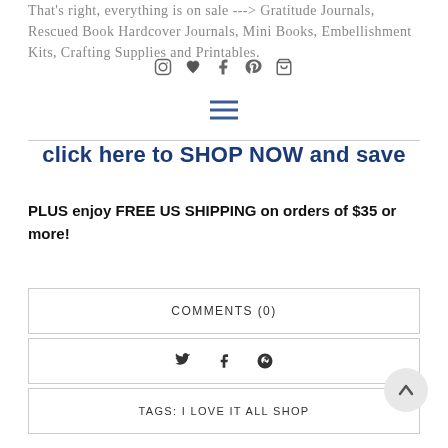That's right, everything is on sale ---> Gratitude Journals, Rescued Book Hardcover Journals, Mini Books, Embellishment Kits, Crafting Supplies and Printables.
[Figure (infographic): Social media icons: Instagram, heart/wishlist, Facebook, Pinterest, shopping cart]
[Figure (infographic): Hamburger menu icon (three horizontal lines)]
click here to SHOP NOW and save
PLUS enjoy FREE US SHIPPING on orders of $35 or more!
COMMENTS (0)
[Figure (infographic): Social share icons: Twitter, Facebook, Pinterest]
TAGS: I LOVE IT ALL SHOP